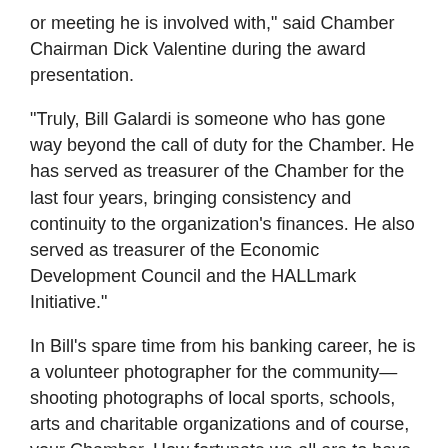or meeting he is involved with," said Chamber Chairman Dick Valentine during the award presentation.
“Truly, Bill Galardi is someone who has gone way beyond the call of duty for the Chamber. He has served as treasurer of the Chamber for the last four years, bringing consistency and continuity to the organization's finances. He also served as treasurer of the Economic Development Council and the HALLmark Initiative.”
In Bill’s spare time from his banking career, he is a volunteer photographer for the community—shooting photographs of local sports, schools, arts and charitable organizations and of course, your Chamber. How fortunate we all are to have Bill Galardi in charge of our Chamber finances. We truly appreciate his service to the Greater Hall Chamber of Commerce and to this community.